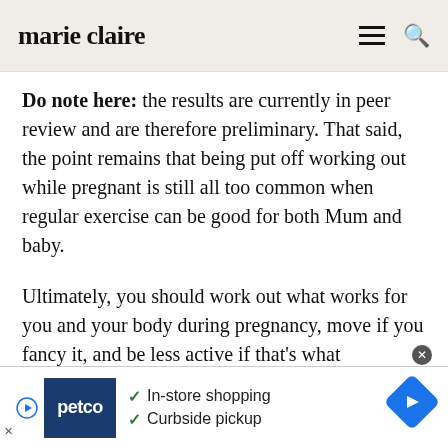marie claire
Do note here: the results are currently in peer review and are therefore preliminary. That said, the point remains that being put off working out while pregnant is still all too common when regular exercise can be good for both Mum and baby.
Ultimately, you should work out what works for you and your body during pregnancy, move if you fancy it, and be less active if that's what
[Figure (other): Petco advertisement banner showing Petco logo, checkmarks for 'In-store shopping' and 'Curbside pickup', and a navigation arrow icon]